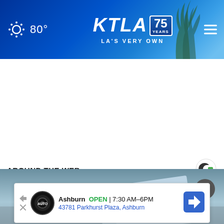KTLA 75 YEARS – LA'S VERY OWN | 80°
[Figure (screenshot): White advertisement area (blank ad space)]
AROUND THE WEB
[Figure (photo): Partially visible image of papers/envelopes in a blue-grey toned photo]
Ashburn  OPEN | 7:30 AM–6PM
43781 Parkhurst Plaza, Ashburn